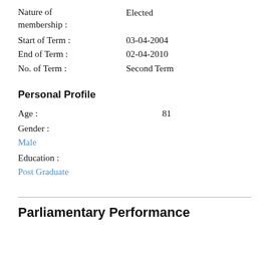Nature of membership : Elected
Start of Term : 03-04-2004
End of Term : 02-04-2010
No. of Term : Second Term
Personal Profile
Age : 81
Gender :
Male
Education :
Post Graduate
Parliamentary Performance